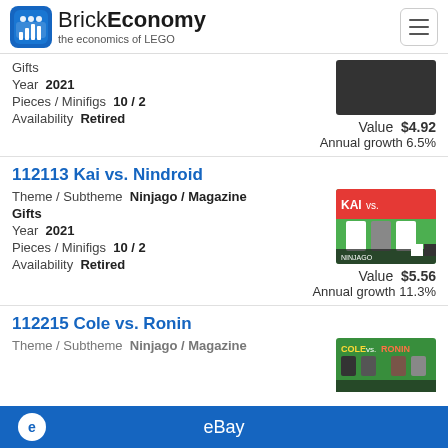BrickEconomy — the economics of LEGO
Gifts
Year 2021
Pieces / Minifigs 10 / 2
Availability Retired
Value $4.92
Annual growth 6.5%
112113 Kai vs. Nindroid
Theme / Subtheme Ninjago / Magazine Gifts
Year 2021
Pieces / Minifigs 10 / 2
Availability Retired
Value $5.56
Annual growth 11.3%
112215 Cole vs. Ronin
Theme / Subtheme Ninjago / Magazine
eBay